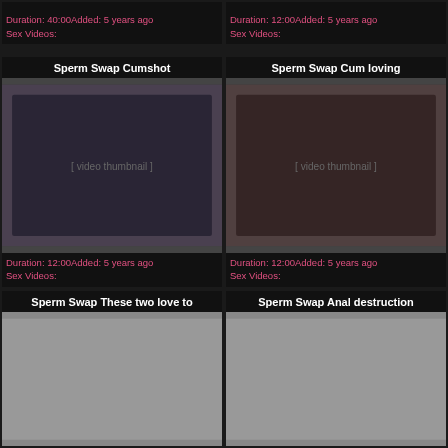Duration: 40:00Added: 5 years ago
Sex Videos:
Duration: 12:00Added: 5 years ago
Sex Videos:
Sperm Swap Cumshot
[Figure (photo): Video thumbnail showing adult content]
Duration: 12:00Added: 5 years ago
Sex Videos:
Sperm Swap Cum loving
[Figure (photo): Video thumbnail showing adult content]
Duration: 12:00Added: 5 years ago
Sex Videos:
Sperm Swap These two love to
[Figure (photo): Video thumbnail placeholder gray]
Sperm Swap Anal destruction
[Figure (photo): Video thumbnail placeholder gray]